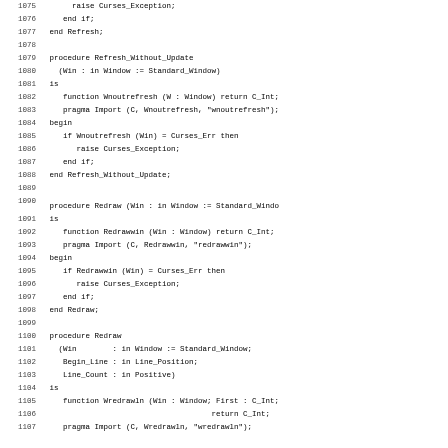[Figure (other): Source code listing in Ada programming language, lines 1075-1107, showing procedure definitions for Refresh_Without_Update and Redraw]